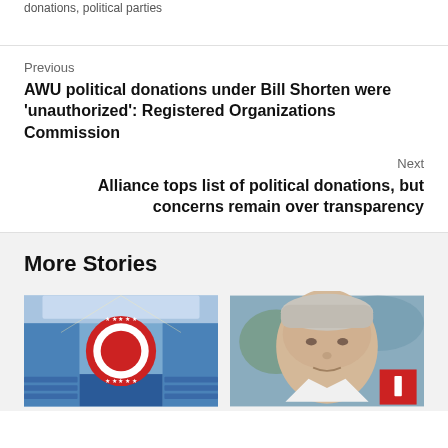donations, political parties
Previous
AWU political donations under Bill Shorten were 'unauthorized': Registered Organizations Commission
Next
Alliance tops list of political donations, but concerns remain over transparency
More Stories
[Figure (photo): Interior of a political convention hall with blue seats and a red, white and blue circular stage backdrop with stars]
[Figure (photo): Close-up photo of an older man with grey-white hair, appears to be Clive Palmer, with a red badge/icon overlay in bottom right corner]